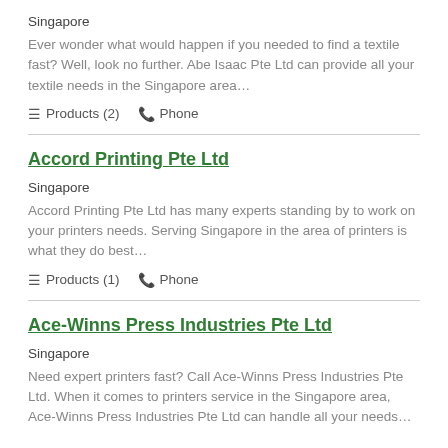Singapore
Ever wonder what would happen if you needed to find a textile fast? Well, look no further. Abe Isaac Pte Ltd can provide all your textile needs in the Singapore area…
≡ Products (2)   ☎ Phone
Accord Printing Pte Ltd
Singapore
Accord Printing Pte Ltd has many experts standing by to work on your printers needs. Serving Singapore in the area of printers is what they do best…
≡ Products (1)   ☎ Phone
Ace-Winns Press Industries Pte Ltd
Singapore
Need expert printers fast? Call Ace-Winns Press Industries Pte Ltd. When it comes to printers service in the Singapore area, Ace-Winns Press Industries Pte Ltd can handle all your needs…